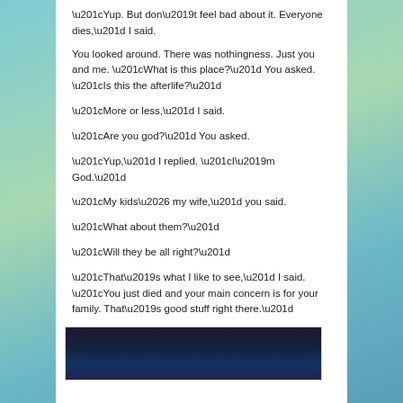“Yup. But don’t feel bad about it. Everyone dies,” I said.
You looked around. There was nothingness. Just you and me. “What is this place?” You asked. “Is this the afterlife?”
“More or less,” I said.
“Are you god?” You asked.
“Yup,” I replied. “I’m God.”
“My kids… my wife,” you said.
“What about them?”
“Will they be all right?”
“That’s what I like to see,” I said. “You just died and your main concern is for your family. That’s good stuff right there.”
[Figure (photo): Dark blue/navy background image, partially visible at bottom of page]